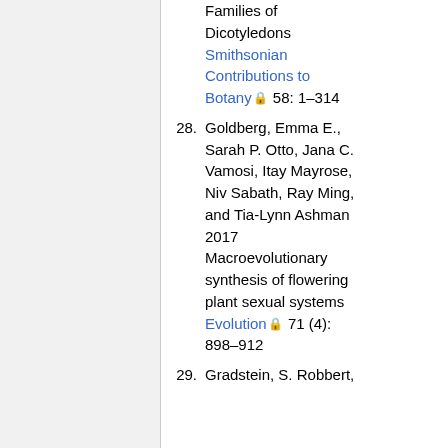Families of Dicotyledons Smithsonian Contributions to Botany 58: 1–314
28. Goldberg, Emma E., Sarah P. Otto, Jana C. Vamosi, Itay Mayrose, Niv Sabath, Ray Ming, and Tia-Lynn Ashman 2017 Macroevolutionary synthesis of flowering plant sexual systems Evolution 71 (4): 898–912
29. Gradstein, S. Robbert,